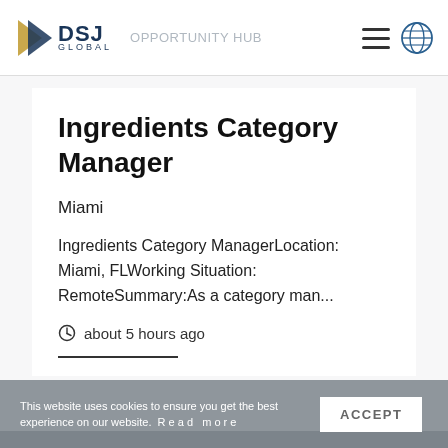[Figure (logo): DSJ Global logo with gold/blue arrow icon and text DSJ GLOBAL]
Ingredients Category Manager
Miami
Ingredients Category ManagerLocation: Miami, FLWorking Situation: RemoteSummary:As a category man...
about 5 hours ago
R&D Procurement Manager
Raleigh
This website uses cookies to ensure you get the best experience on our website. Read more